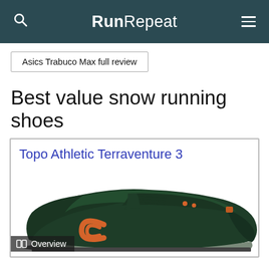RunRepeat
Asics Trabuco Max full review
Best value snow running shoes
Topo Athletic Terraventure 3
[Figure (photo): Photo of a dark green Topo Athletic Terraventure 3 running shoe with orange accents including the Topo logo, shown from the side on a white background. An 'Overview' label appears at the bottom left of the card.]